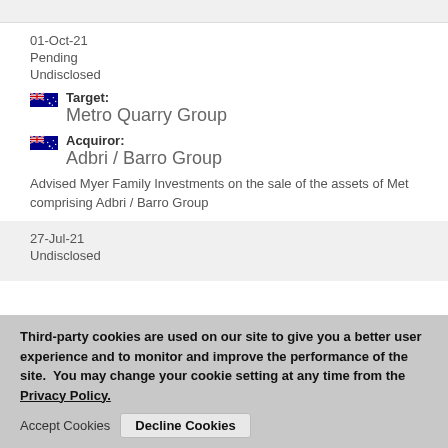01-Oct-21
Pending
Undisclosed
Target: Metro Quarry Group
Acquiror: Adbri / Barro Group
Advised Myer Family Investments on the sale of the assets of Metro Quarry Group comprising Adbri / Barro Group
27-Jul-21
Undisclosed
Third-party cookies are used on our site to give you a better user experience and to monitor and improve the performance of the site.  You may change your cookie setting at any time from the Privacy Policy.